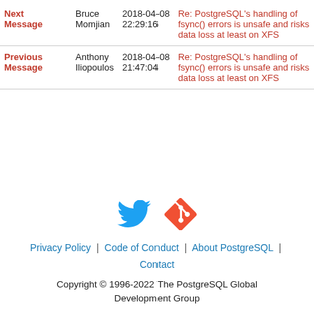|  | From | Date | Subject |
| --- | --- | --- | --- |
| Next Message | Bruce Momjian | 2018-04-08 22:29:16 | Re: PostgreSQL's handling of fsync() errors is unsafe and risks data loss at least on XFS |
| Previous Message | Anthony Iliopoulos | 2018-04-08 21:47:04 | Re: PostgreSQL's handling of fsync() errors is unsafe and risks data loss at least on XFS |
[Figure (logo): Twitter bird icon (blue) and Git logo icon (orange-red)]
Privacy Policy | Code of Conduct | About PostgreSQL | Contact
Copyright © 1996-2022 The PostgreSQL Global Development Group